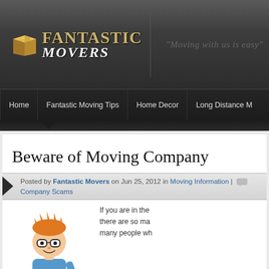[Figure (logo): Fantastic Movers logo with gold box icon and text]
"Moving with us is easy"
Home | Fantastic Moving Tips | Home Decor | Long Distance M
Beware of Moving Company
Posted by Fantastic Movers on Jun 25, 2012 in Moving Information | Company Scams
[Figure (illustration): Cartoon character with orange hair and glasses holding a paper]
If you are in the there are so ma many people wh